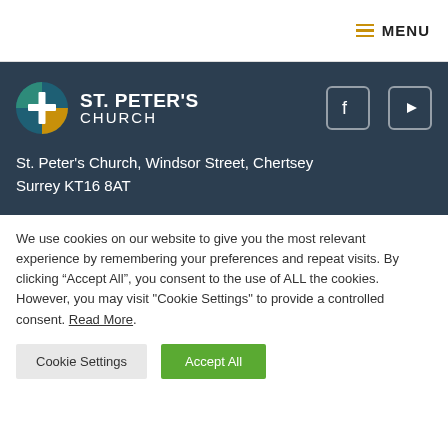MENU
[Figure (logo): St. Peter's Church logo with cross icon and church name]
St. Peter's Church, Windsor Street, Chertsey Surrey KT16 8AT
We use cookies on our website to give you the most relevant experience by remembering your preferences and repeat visits. By clicking “Accept All”, you consent to the use of ALL the cookies. However, you may visit "Cookie Settings" to provide a controlled consent. Read More.
Cookie Settings | Accept All